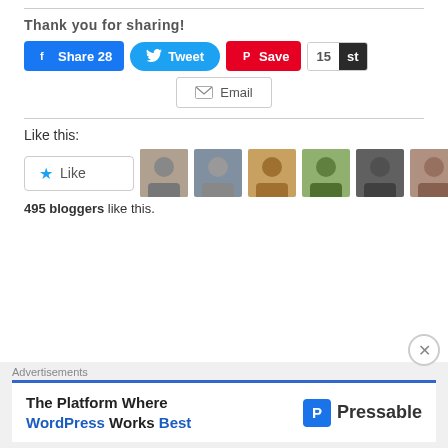Thank you for sharing!
[Figure (screenshot): Social share buttons: Facebook Share 28, Tweet, Pinterest Save, Stumbleupon 15, Email]
Like this:
[Figure (screenshot): Like button and blogger avatars row showing 495 bloggers like this]
495 bloggers like this.
[Figure (screenshot): Advertisement banner: The Platform Where WordPress Works Best - Pressable]